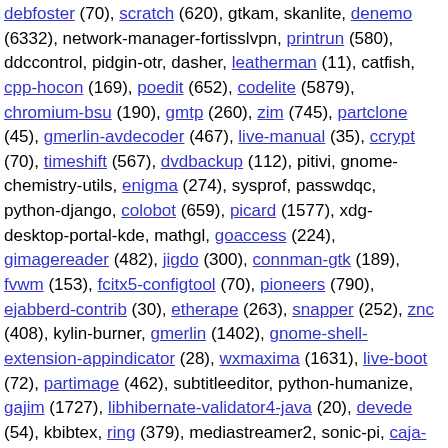debfoster (70), scratch (620), gtkam, skanlite, denemo (6332), network-manager-fortisslvpn, printrun (580), ddccontrol, pidgin-otr, dasher, leatherman (11), catfish, cpp-hocon (169), poedit (652), codelite (5879), chromium-bsu (190), gmtp (260), zim (745), partclone (45), gmerlin-avdecoder (467), live-manual (35), ccrypt (70), timeshift (567), dvdbackup (112), pitivi, gnome-chemistry-utils, enigma (274), sysprof, passwdqc, python-django, colobot (659), picard (1577), xdg-desktop-portal-kde, mathgl, goaccess (224), gimagereader (482), jigdo (300), connman-gtk (189), fvwm (153), fcitx5-configtool (70), pioneers (790), ejabberd-contrib (30), etherape (263), snapper (252), znc (408), kylin-burner, gmerlin (1402), gnome-shell-extension-appindicator (28), wxmaxima (1631), live-boot (72), partimage (462), subtitleeditor, python-humanize, gajim (1727), libhibernate-validator4-java (20), devede (54), kbibtex, ring (379), mediastreamer2, sonic-pi, caja-admin (8), krename, pygtkspellcheck, motion, asclock, synfig, zanominder (20), stardict, caja-rename (25), cowfish (1251)